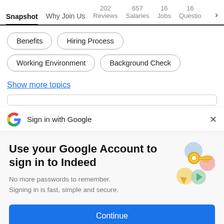Snapshot | Why Join Us | 202 Reviews | 657 Salaries | 16 Jobs | 16 Questio >
Benefits
Hiring Process
Working Environment
Background Check
Show more topics
[Figure (screenshot): Google sign-in banner with Google G logo and X close button, text: Sign in with Google]
Use your Google Account to sign in to Indeed
No more passwords to remember. Signing in is fast, simple and secure.
[Figure (illustration): Google account illustration with key and colorful circles/shapes]
Continue